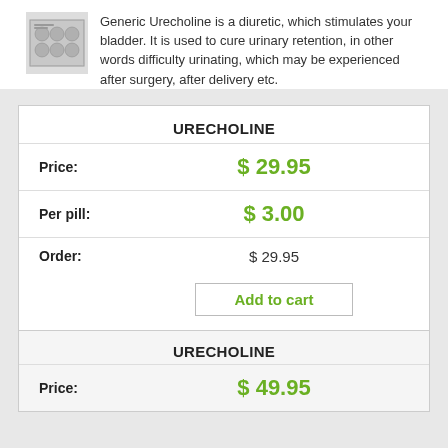[Figure (photo): Product image of pill blister pack for Urecholine]
Generic Urecholine is a diuretic, which stimulates your bladder. It is used to cure urinary retention, in other words difficulty urinating, which may be experienced after surgery, after delivery etc.
|  | URECHOLINE |
| Price: | $ 29.95 |
| Per pill: | $ 3.00 |
| Order: | $ 29.95 |
|  | Add to cart |
|  | URECHOLINE |
| Price: | $ 49.95 |